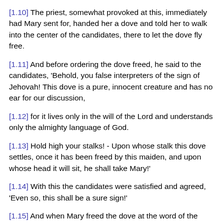[1.10] The priest, somewhat provoked at this, immediately had Mary sent for, handed her a dove and told her to walk into the center of the candidates, there to let the dove fly free.
[1.11] And before ordering the dove freed, he said to the candidates, 'Behold, you false interpreters of the sign of Jehovah! This dove is a pure, innocent creature and has no ear for our discussion,
[1.12] for it lives only in the will of the Lord and understands only the almighty language of God.
[1.13] Hold high your stalks! - Upon whose stalk this dove settles, once it has been freed by this maiden, and upon whose head it will sit, he shall take Mary!'
[1.14] With this the candidates were satisfied and agreed, 'Even so, this shall be a sure sign!'
[1.15] And when Mary freed the dove at the word of the priest, it rose on the flower stem - Joseph with the bird settled all